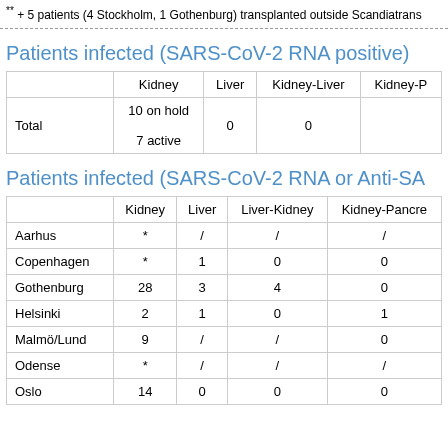** + 5 patients (4 Stockholm, 1 Gothenburg) transplanted outside Scandiatrans
Patients infected (SARS-CoV-2 RNA positive)
|  | Kidney | Liver | Kidney-Liver | Kidney-P |
| --- | --- | --- | --- | --- |
| Total | 10 on hold
7 active | 0 | 0 |  |
Patients infected (SARS-CoV-2 RNA or Anti-SA
|  | Kidney | Liver | Liver-Kidney | Kidney-Pancre |
| --- | --- | --- | --- | --- |
| Aarhus | * | / | / | / |
| Copenhagen | * | 1 | 0 | 0 |
| Gothenburg | 28 | 3 | 4 | 0 |
| Helsinki | 2 | 1 | 0 | 1 |
| Malmö/Lund | 9 | / | / | 0 |
| Odense | * | / | / | / |
| Oslo | 14 | 0 | 0 | 0 |